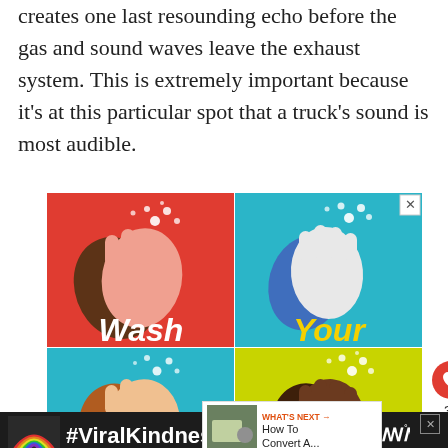creates one last resounding echo before the gas and sound waves leave the exhaust system. This is extremely important because it's at this particular spot that a truck's sound is most audible.
[Figure (illustration): A 2x2 grid advertisement showing hands being washed with soap bubbles. Top-left panel on red background: brown and pink clapping hands with 'Wash' text. Top-right panel on cyan/teal background: blue and white hands with bubbles and 'Your' text. Bottom-left panel on cyan/teal background: brown and light hands with 'Hands' text. Bottom-right panel on yellow-green background: dark brown hands clapping with 'Often' text. A close button (X) in the top-right corner, a heart/like button and share button on the right side, and a 'What's Next -> How To Convert A...' thumbnail overlay.]
[Figure (illustration): Bottom advertisement banner with dark/black background showing a colorful rainbow illustration on the left, bold white '#ViralKindness' text in the center, and a podcast/audio logo icon on the right. A close X button in the upper right of the banner.]